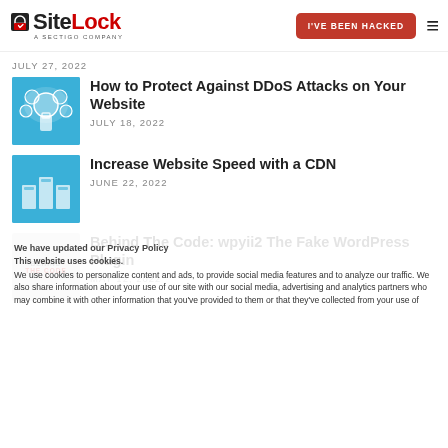SiteLock — A Sectigo Company | I'VE BEEN HACKED | Menu
JULY 27, 2022
How to Protect Against DDoS Attacks on Your Website
JULY 18, 2022
Increase Website Speed with a CDN
JUNE 22, 2022
Behind The Code: wpyii2 The Fake WordPress Plugin
MAY 12, 2022
We have updated our Privacy Policy
This website uses cookies.
We use cookies to personalize content and ads, to provide social media features and to analyze our traffic. We also share information about your use of our site with our social media, advertising and analytics partners who may combine it with other information that you've provided to them or that they've collected from your use of their services. You consent to our cookies if you continue to use our website.
CATEGORIES
Select Category
OK
Show details